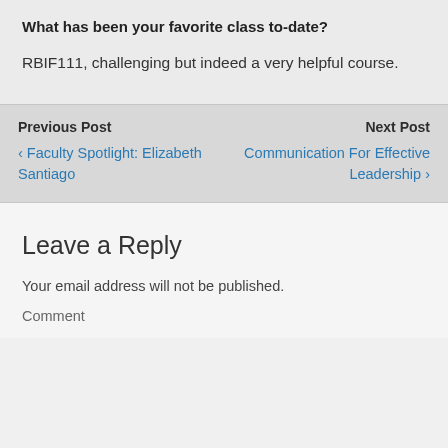What has been your favorite class to-date?
RBIF111, challenging but indeed a very helpful course.
Previous Post
‹ Faculty Spotlight: Elizabeth Santiago
Next Post
Communication For Effective Leadership ›
Leave a Reply
Your email address will not be published.
Comment